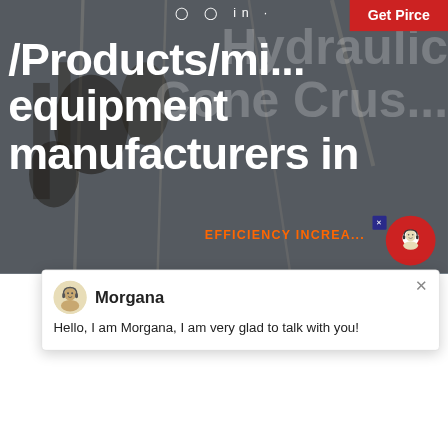[Figure (screenshot): Website screenshot showing a mining equipment manufacturers page with industrial machinery background, 'Get Price' button, social media icons (Facebook, Instagram, LinkedIn), overlaid text '/Products/mining equipment manufacturers in' in white bold font, partially visible 'Hydraulic Cone Crusher' and 'EFFICIENCY INCREASED' text on right side, a customer support chat popup with avatar of agent named Morgana saying 'Hello, I am Morgana, I am very glad to talk with you!', a circular number badge '1' in cyan/blue, and a bottom photo of industrial cone crusher machinery indoors.]